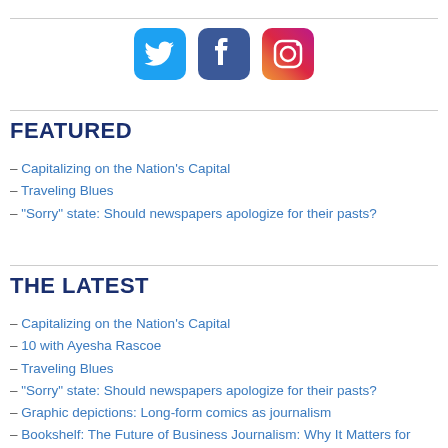[Figure (logo): Social media icons: Twitter (cyan bird), Facebook (dark blue f), Instagram (gradient camera)]
FEATURED
– Capitalizing on the Nation's Capital
– Traveling Blues
– “Sorry” state: Should newspapers apologize for their pasts?
THE LATEST
– Capitalizing on the Nation’s Capital
– 10 with Ayesha Rascoe
– Traveling Blues
– “Sorry” state: Should newspapers apologize for their pasts?
– Graphic depictions: Long-form comics as journalism
– Bookshelf: The Future of Business Journalism: Why It Matters for Wall Street and Main Street
– From the President: Chapters take the lead